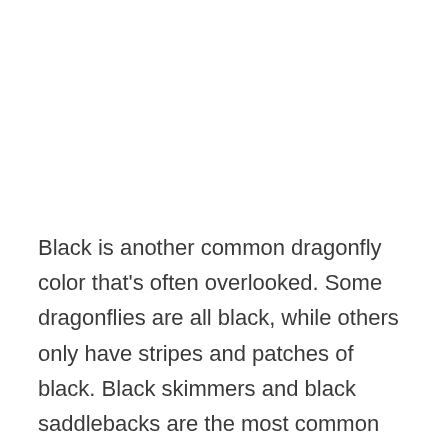Black is another common dragonfly color that's often overlooked. Some dragonflies are all black, while others only have stripes and patches of black. Black skimmers and black saddlebacks are the most common examples. However, the giant petaltail, which is the largest dragonfly in the world, is mostly black with some yellow markings.